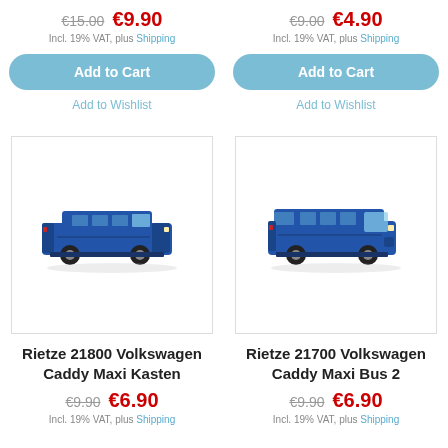€15.00  €9.90
Incl. 19% VAT, plus Shipping
€9.00  €4.90
Incl. 19% VAT, plus Shipping
Add to Cart
Add to Wishlist
Add to Cart
Add to Wishlist
[Figure (photo): Rietze 21800 Volkswagen Caddy Maxi Kasten blue model van, side view]
[Figure (photo): Rietze 21700 Volkswagen Caddy Maxi Bus 2 blue model van, side view]
Rietze 21800 Volkswagen Caddy Maxi Kasten
Rietze 21700 Volkswagen Caddy Maxi Bus 2
€9.90  €6.90
Incl. 19% VAT, plus Shipping
€9.90  €6.90
Incl. 19% VAT, plus Shipping